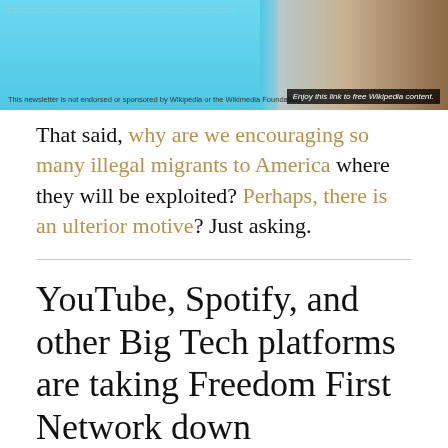[Figure (photo): Banner image with light blue background on the left and a person/wood interior scene on the right. Bottom-left has small disclaimer text. Bottom-right has dark box with italic text 'Enjoy this link to free Wikipedia content.']
That said, why are we encouraging so many illegal migrants to America where they will be exploited? Perhaps, there is an ulterior motive? Just asking.
YouTube, Spotify, and other Big Tech platforms are taking Freedom First Network down
It's no secret we speak our minds and bring on guests who do the same. That's one of